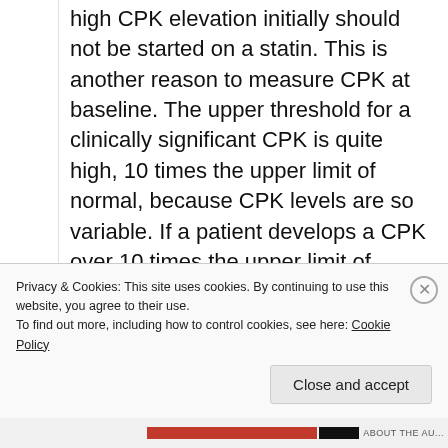high CPK elevation initially should not be started on a statin. This is another reason to measure CPK at baseline. The upper threshold for a clinically significant CPK is quite high, 10 times the upper limit of normal, because CPK levels are so variable. If a patient develops a CPK over 10 times the upper limit of normal on statin use, you should stop statin therapy, at least temporarily, and consider either lowering the dose or switching to a different statin. In rare
Privacy & Cookies: This site uses cookies. By continuing to use this website, you agree to their use.
To find out more, including how to control cookies, see here: Cookie Policy